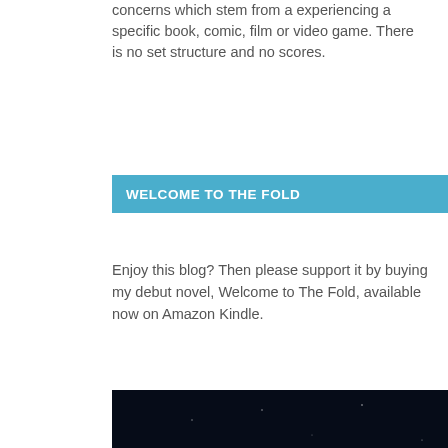concerns which stem from a experiencing a specific book, comic, film or video game. There is no set structure and no scores.
WELCOME TO THE FOLD
Enjoy this blog? Then please support it by buying my debut novel, Welcome to The Fold, available now on Amazon Kindle.
[Figure (illustration): Dark night sky background with two brain/skull silhouettes filled with blue typographic words including TALK, BELIEVE, LOSE, BRING, FEEL, MAKE, REMEMBER, TRAVEL, PROCRASTINATE, ANSWER, FINISH, PLAY and others]